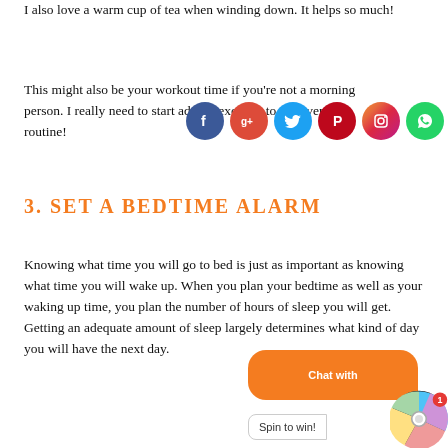I also love a warm cup of tea when winding down. It helps so much!
This might also be your workout time if you're not a morning person. I really need to start adding exercise to my evening routine!
[Figure (infographic): Social media share icons: Facebook (blue), Google+ (red), Twitter (light blue), Pinterest (red/dark), Instagram (pink/purple gradient), WhatsApp (green)]
3. SET A BEDTIME ALARM
Knowing what time you will go to bed is just as important as knowing what time you will wake up. When you plan your bedtime as well as your waking up time, you plan the number of hours of sleep you will get. Getting an adequate amount of sleep largely determines what kind of day you will have the next day.
[Figure (infographic): Spin to win widget with colorful wheel and chat bubble overlay]